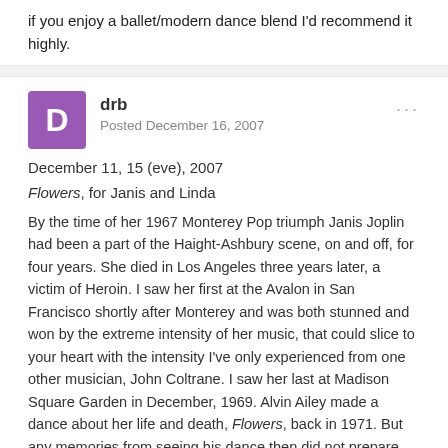if you enjoy a ballet/modern dance blend I'd recommend it highly.
drb
Posted December 16, 2007
December 11, 15 (eve), 2007
Flowers, for Janis and Linda
By the time of her 1967 Monterey Pop triumph Janis Joplin had been a part of the Haight-Ashbury scene, on and off, for four years. She died in Los Angeles three years later, a victim of Heroin. I saw her first at the Avalon in San Francisco shortly after Monterey and was both stunned and won by the extreme intensity of her music, that could slice to your heart with the intensity I've only experienced from one other musician, John Coltrane. I saw her last at Madison Square Garden in December, 1969. Alvin Ailey made a dance about her life and death, Flowers, back in 1971. But any memories from seeing his dance then did not prepare me for the catharsis given by Linda Celeste Sims in two performances seen this week.